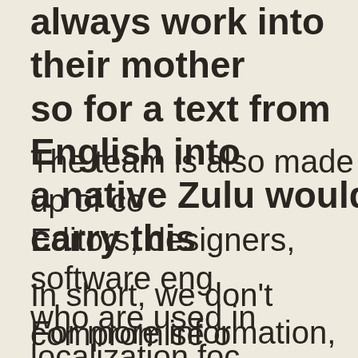always work into their mother tongue, so for a text from English into Zulu, a native Zulu would carry this
The team is also made up of co. Editors, designers, software eng who are used in localization foc projects.
In short, we don't compromise o
For more information, please co member of the team who can ta through your specific project.